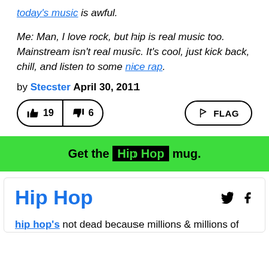today's music is awful.
Me: Man, I love rock, but hip is real music too. Mainstream isn't real music. It's cool, just kick back, chill, and listen to some nice rap.
by Stecster April 30, 2011
[Figure (infographic): Vote buttons showing thumbs up 19, thumbs down 6, and a FLAG button]
Get the Hip Hop mug.
Hip Hop
hip hop's not dead because millions & millions of